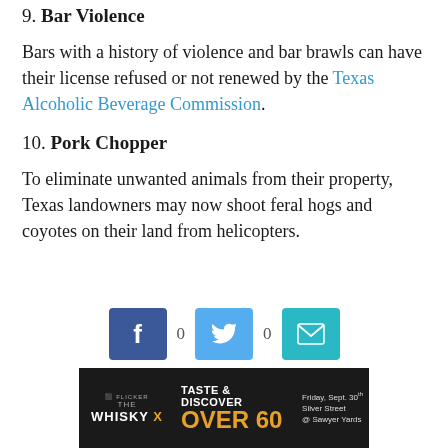9. Bar Violence
Bars with a history of violence and bar brawls can have their license refused or not renewed by the Texas Alcoholic Beverage Commission.
10. Pork Chopper
To eliminate unwanted animals from their property, Texas landowners may now shoot feral hogs and coyotes on their land from helicopters.
[Figure (infographic): Social share buttons: Facebook (0), Twitter (0), and Email icon]
[Figure (infographic): Advertisement banner for Whisky X event: Taste & Discover Over 60, Friday Sept. 30th, Silver Street @ Sawyer Yards]